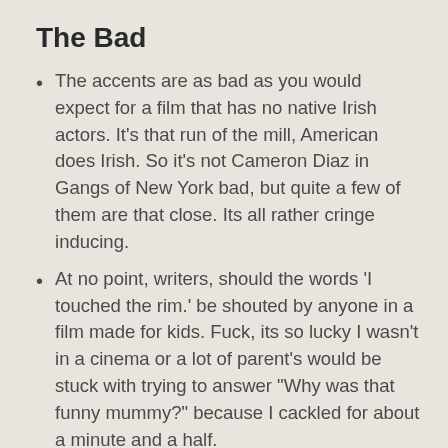The Bad
The accents are as bad as you would expect for a film that has no native Irish actors. It's that run of the mill, American does Irish. So it's not Cameron Diaz in Gangs of New York bad, but quite a few of them are that close. Its all rather cringe inducing.
At no point, writers, should the words 'I touched the rim.' be shouted by anyone in a film made for kids. Fuck, its so lucky I wasn't in a cinema or a lot of parent's would be stuck with trying to answer "Why was that funny mummy?" because I cackled for about a minute and a half.
The Ugly